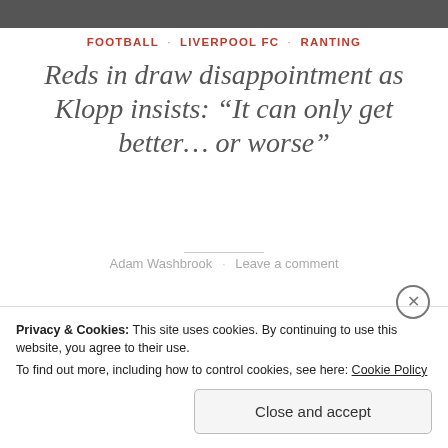[Figure (photo): Partial image at top of page, dark/grey content]
FOOTBALL · LIVERPOOL FC · RANTING
Reds in draw disappointment as Klopp insists: “It can only get better… or worse”
Adam Washbrook · Leave a comment
Liverpool have drawn their opening game in the 2017/18 Premier League season, despite their best efforts to drop all three points.  In an attempt to buoy spirits around the place, the Reds were said to be set on losing the opening
Privacy & Cookies: This site uses cookies. By continuing to use this website, you agree to their use.
To find out more, including how to control cookies, see here: Cookie Policy
Close and accept